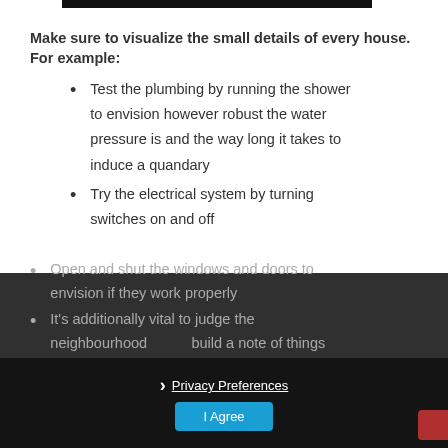Make sure to visualize the small details of every house. For example:
Test the plumbing by running the shower to envision however robust the water pressure is and the way long it takes to induce a quandary
Try the electrical system by turning switches on and off
Open and shut the windows and doors to envision if they work properly
It's additionally vital to judge the neighbourhood build a note of things